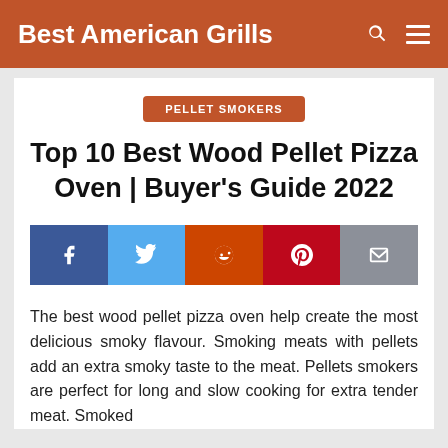Best American Grills
PELLET SMOKERS
Top 10 Best Wood Pellet Pizza Oven | Buyer's Guide 2022
[Figure (infographic): Social sharing buttons: Facebook, Twitter, Reddit, Pinterest, Email]
The best wood pellet pizza oven help create the most delicious smoky flavour. Smoking meats with pellets add an extra smoky taste to the meat. Pellets smokers are perfect for long and slow cooking for extra tender meat. Smoked